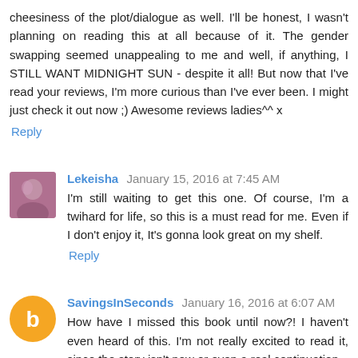cheesiness of the plot/dialogue as well. I'll be honest, I wasn't planning on reading this at all because of it. The gender swapping seemed unappealing to me and well, if anything, I STILL WANT MIDNIGHT SUN - despite it all! But now that I've read your reviews, I'm more curious than I've ever been. I might just check it out now ;) Awesome reviews ladies^^ x
Reply
Lekeisha January 15, 2016 at 7:45 AM
I'm still waiting to get this one. Of course, I'm a twihard for life, so this is a must read for me. Even if I don't enjoy it, It's gonna look great on my shelf.
Reply
SavingsInSeconds January 16, 2016 at 6:07 AM
How have I missed this book until now?! I haven't even heard of this. I'm not really excited to read it, since the story isn't new or even a real continuation.